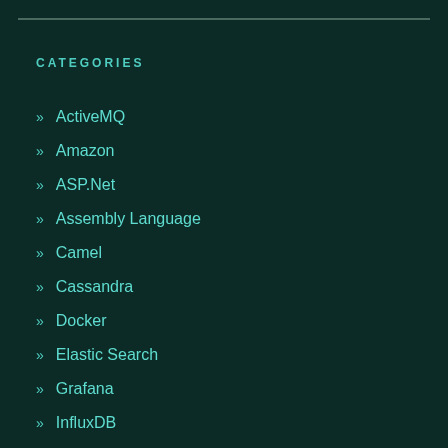CATEGORIES
» ActiveMQ
» Amazon
» ASP.Net
» Assembly Language
» Camel
» Cassandra
» Docker
» Elastic Search
» Grafana
» InfluxDB
» Java
» KairosDB